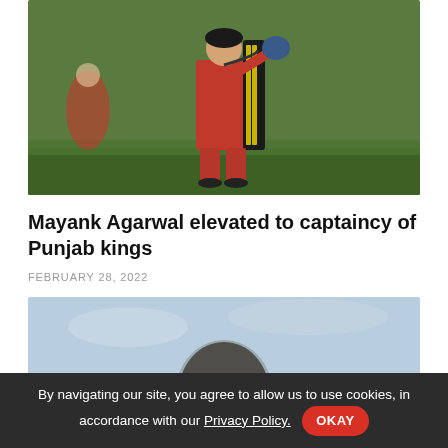[Figure (photo): Cricket player in red jersey walking on green field, carrying cricket gear bag]
Mayank Agarwal elevated to captaincy of Punjab kings
FEBRUARY 28, 2022
[Figure (photo): Person's head partially visible against light blue/sky background, image appears blurred]
By navigating our site, you agree to allow us to use cookies, in accordance with our Privacy Policy. OKAY